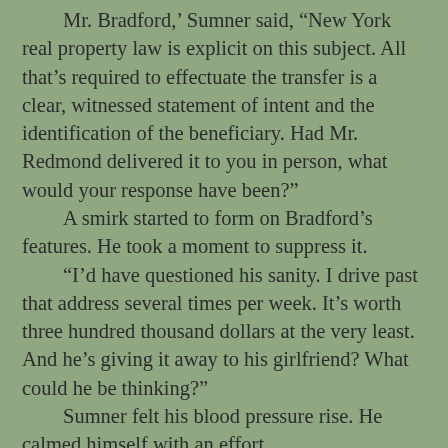Mr. Bradford,' Sumner said, 'New York real property law is explicit on this subject. All that's required to effectuate the transfer is a clear, witnessed statement of intent and the identification of the beneficiary. Had Mr. Redmond delivered it to you in person, what would your response have been?' A smirk started to form on Bradford's features. He took a moment to suppress it. 'I'd have questioned his sanity. I drive past that address several times per week. It's worth three hundred thousand dollars at the very least. And he's giving it away to his girlfriend? What could he be thinking?' Sumner felt his blood pressure rise. He calmed himself with an effort. 'Are you rejecting the statement of intent, Mr. Bradford? Prepared by an attorney in good standing before the New York bar, signed by the property's current owner, witnessed and notarized as the law requires? Because if that's what you're doing, I'll require you to state your grounds for doing so, and to cite the legal provision under which you've done so.' He smiled. 'Before witnesses.' Bradford glared at Sumner for a long, silent moment. Presently he smiled and sat back, fingers interlaced behind